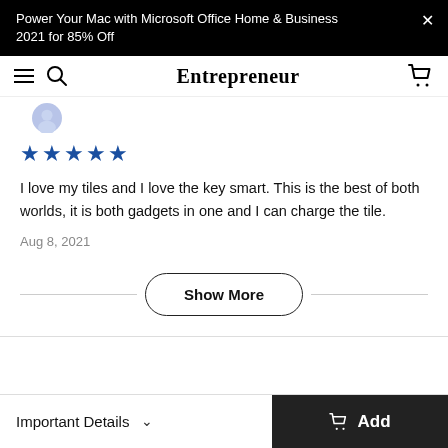Power Your Mac with Microsoft Office Home & Business 2021 for 85% Off
Entrepreneur
[Figure (illustration): Partial circular avatar image, blue toned, partially cropped at top of content area]
★★★★★
I love my tiles and I love the key smart. This is the best of both worlds, it is both gadgets in one and I can charge the tile.
Aug 8, 2021
Show More
Important Details
Add